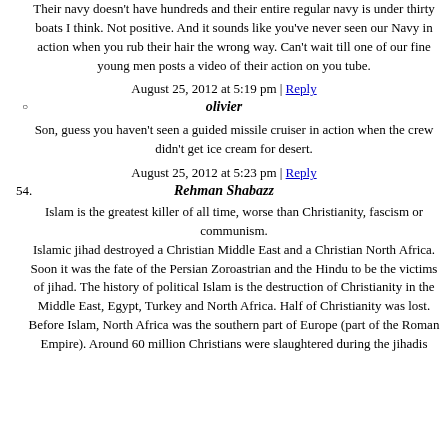Their navy doesn't have hundreds and their entire regular navy is under thirty boats I think. Not positive. And it sounds like you've never seen our Navy in action when you rub their hair the wrong way. Can't wait till one of our fine young men posts a video of their action on you tube.
August 25, 2012 at 5:19 pm | Reply
olivier
Son, guess you haven't seen a guided missile cruiser in action when the crew didn't get ice cream for desert.
August 25, 2012 at 5:23 pm | Reply
54. Rehman Shabazz
Islam is the greatest killer of all time, worse than Christianity, fascism or communism. Islamic jihad destroyed a Christian Middle East and a Christian North Africa. Soon it was the fate of the Persian Zoroastrian and the Hindu to be the victims of jihad. The history of political Islam is the destruction of Christianity in the Middle East, Egypt, Turkey and North Africa. Half of Christianity was lost. Before Islam, North Africa was the southern part of Europe (part of the Roman Empire). Around 60 million Christians were slaughtered during the jihadis